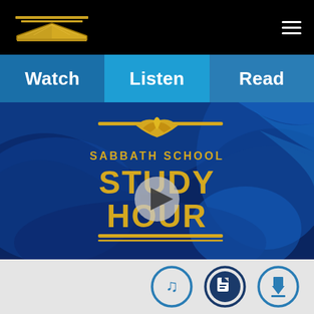[Figure (screenshot): Black header bar with a gold open-book logo and white hamburger menu icon on the right]
Watch   Listen   Read
[Figure (screenshot): Sabbath School Study Hour video thumbnail on dark blue background with a play button overlay. Gold text reads SABBATH SCHOOL STUDY HOUR with a stylized gold bird/flame logo above.]
[Figure (screenshot): Bottom bar with three circular icons: music note, document/page icon, and download icon, in blue on a light gray background]